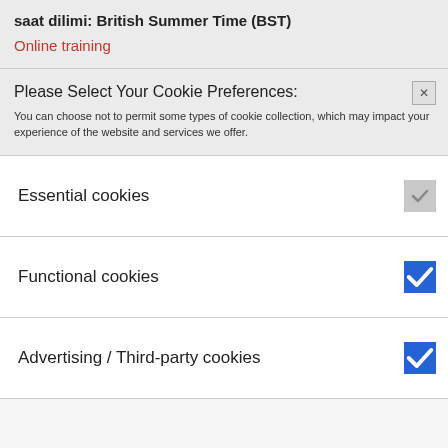saat dilimi: British Summer Time (BST)
Online training
Please Select Your Cookie Preferences:
You can choose not to permit some types of cookie collection, which may impact your experience of the website and services we offer.
Essential cookies
Functional cookies
Advertising / Third-party cookies
Find out about our
save settings
use of cookies